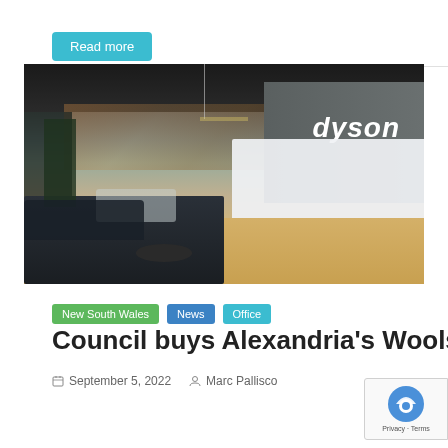Read more
[Figure (photo): Interior of a modern office/showroom with the Dyson logo on the wall, leather sofas, a round coffee table, exposed wooden beams, and a vintage car visible in the background.]
New South Wales  News  Office
Council buys Alexandria's Woolsto
September 5, 2022   Marc Pallisco